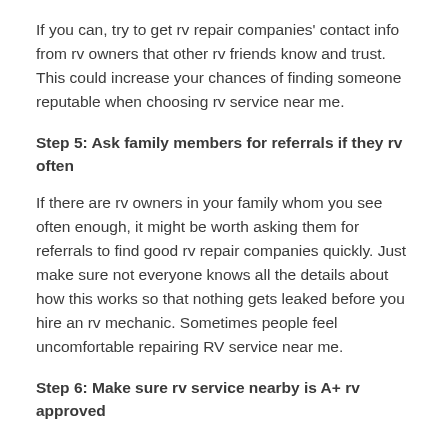If you can, try to get rv repair companies' contact info from rv owners that other rv friends know and trust. This could increase your chances of finding someone reputable when choosing rv service near me.
Step 5: Ask family members for referrals if they rv often
If there are rv owners in your family whom you see often enough, it might be worth asking them for referrals to find good rv repair companies quickly. Just make sure not everyone knows all the details about how this works so that nothing gets leaked before you hire an rv mechanic. Sometimes people feel uncomfortable repairing RV service near me.
Step 6: Make sure rv service nearby is A+ rv approved